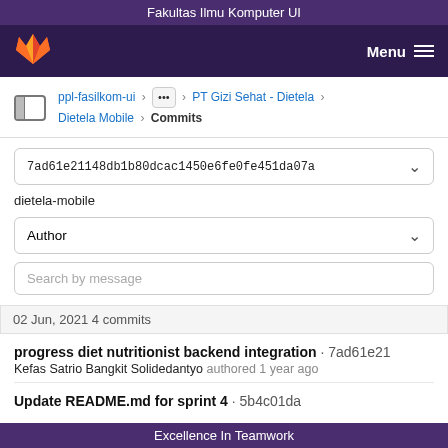Fakultas Ilmu Komputer UI
[Figure (logo): GitLab fox logo in orange on dark purple navigation bar]
Menu ☰
ppl-fasilkom-ui › ••• › PT Gizi Sehat - Dietela › Dietela Mobile › Commits
7ad61e21148db1b80dcac1450e6fe0fe451da07a
dietela-mobile
Author
Search by message
02 Jun, 2021 4 commits
progress diet nutritionist backend integration · 7ad61e21
Kefas Satrio Bangkit Solidedantyo authored 1 year ago
Update README.md for sprint 4 · 5b4c01da
Excellence In Teamwork